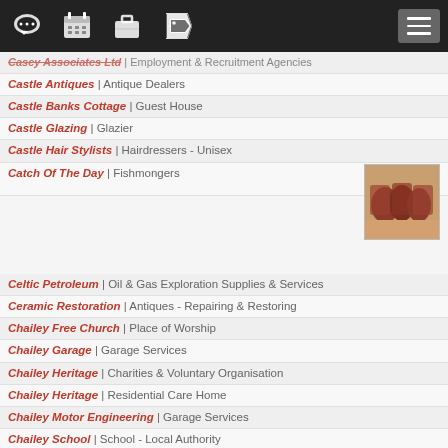[navigation icons and menu]
Casey Associates Ltd | Employment & Recruitment Agencies
Castle Antiques | Antique Dealers
Castle Banks Cottage | Guest House
Castle Glazing | Glazier
Castle Hair Stylists | Hairdressers - Unisex
Catch Of The Day | Fishmongers
[Figure (photo): Photo thumbnail of fish/seafood products]
Celtic Petroleum | Oil & Gas Exploration Supplies & Services
Ceramic Restoration | Antiques - Repairing & Restoring
Chailey Free Church | Place of Worship
Chailey Garage | Garage Services
Chailey Heritage | Charities & Voluntary Organisation
Chailey Heritage | Residential Care Home
Chailey Motor Engineering | Garage Services
Chailey School | School - Local Authority
Chailey Service Station | Petrol Filling Station
Chandlers Building Supplies Ltd | Builders Merchants
Chandlers Building Supplies Ltd | Builders Merchants
Charcoal Grill | Take Away Food Shop
Charities Information Service | Information Services
Charlies High Diner Furniture | Diner Furniture